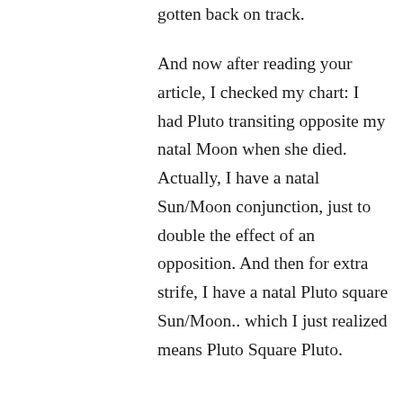gotten back on track.
And now after reading your article, I checked my chart: I had Pluto transiting opposite my natal Moon when she died. Actually, I have a natal Sun/Moon conjunction, just to double the effect of an opposition. And then for extra strife, I have a natal Pluto square Sun/Moon.. which I just realized means Pluto Square Pluto.
↪ Reply
Donna Cunningham on July 14, 2010 at 8:30 am
Strong stuff, Charles. So that was part of your midlife series of aspects, and so it